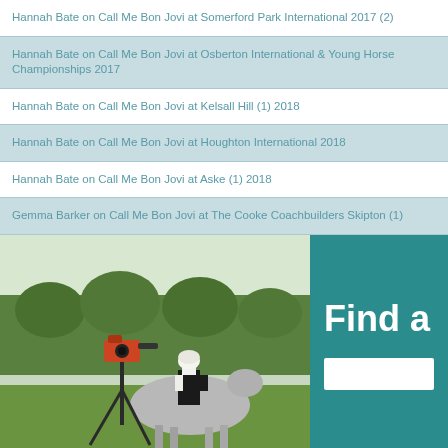Hannah Bate on Call Me Bon Jovi at Somerford Park International 2017 (2)
Hannah Bate on Call Me Bon Jovi at Osberton International & Young Horse Championships 2017
Hannah Bate on Call Me Bon Jovi at Kelsall Hill (1) 2018
Hannah Bate on Call Me Bon Jovi at Houghton International 2018
Hannah Bate on Call Me Bon Jovi at Aske (1) 2018
Gemma Barker on Call Me Bon Jovi at The Cooke Coachbuilders Skipton (1)
[Figure (photo): A rider on a grey horse at an equestrian event, with a camera on a tripod in the foreground and trees in the background. A teal panel on the right shows 'Find a' text with a white search box below.]